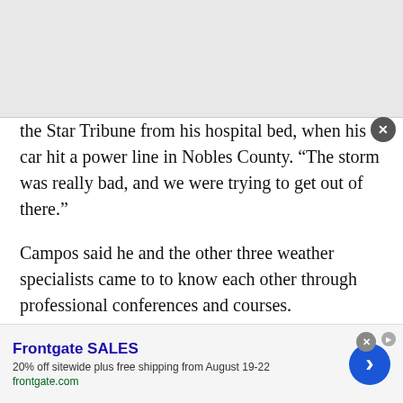the Star Tribune from his hospital bed, when his car hit a power line in Nobles County. “The storm was really bad, and we were trying to get out of there.”
Campos said he and the other three weather specialists came to to know each other through professional conferences and courses.
Tens of thousands of homes and businesses were without power Thursday across southern Minnesota as hundreds of Xcel Energy employees
[Figure (screenshot): Advertisement banner for Frontgate SALES: '20% off sitewide plus free shipping from August 19-22', with frontgate.com URL, a blue forward arrow button, and a close (X) button.]